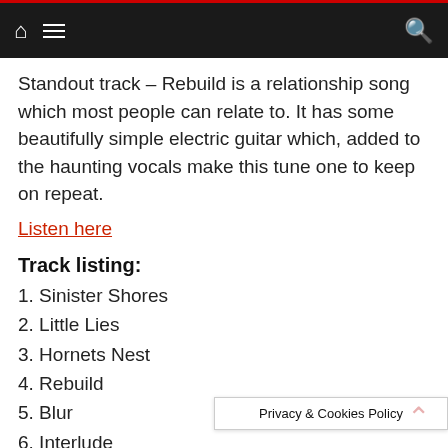Navigation bar with home, menu, and search icons
Standout track – Rebuild is a relationship song which most people can relate to. It has some beautifully simple electric guitar which, added to the haunting vocals make this tune one to keep on repeat.
Listen here
Track listing:
1. Sinister Shores
2. Little Lies
3. Hornets Nest
4. Rebuild
5. Blur
6. Interlude
7. Sleepless
8. Isolated